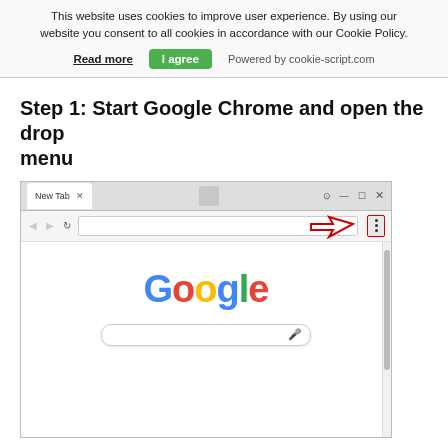This website uses cookies to improve user experience. By using our website you consent to all cookies in accordance with our Cookie Policy.
Read more   I agree   Powered by cookie-script.com
Step 1: Start Google Chrome and open the drop menu
[Figure (screenshot): Screenshot of Google Chrome browser showing the New Tab page with the Google logo and search bar. A red arrow annotation points to the Chrome menu (three vertical dots) button in the top-right corner of the browser window.]